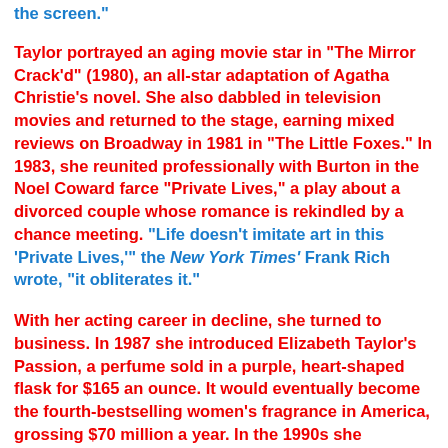the screen."

Taylor portrayed an aging movie star in "The Mirror Crack'd" (1980), an all-star adaptation of Agatha Christie's novel. She also dabbled in television movies and returned to the stage, earning mixed reviews on Broadway in 1981 in "The Little Foxes." In 1983, she reunited professionally with Burton in the Noel Coward farce "Private Lives," a play about a divorced couple whose romance is rekindled by a chance meeting. "Life doesn't imitate art in this 'Private Lives,'" the New York Times' Frank Rich wrote, "it obliterates it."

With her acting career in decline, she turned to business. In 1987 she introduced Elizabeth Taylor's Passion, a perfume sold in a purple, heart-shaped flask for $165 an ounce. It would eventually become the fourth-bestselling women's fragrance in America, grossing $70 million a year. In the 1990s she introduced another successful scent, White Diamonds.

Among her last acting jobs was the modest role of Fred